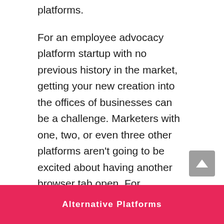platforms.
For an employee advocacy platform startup with no previous history in the market, getting your new creation into the offices of businesses can be a challenge. Marketers with one, two, or even three other platforms aren't going to be excited about having another browser tab open. For companies like Oktopost, on the other hand, adding an employee advocacy module to their already successful social media management platform is a move that lands right in their suite spot,
Alternative Platforms